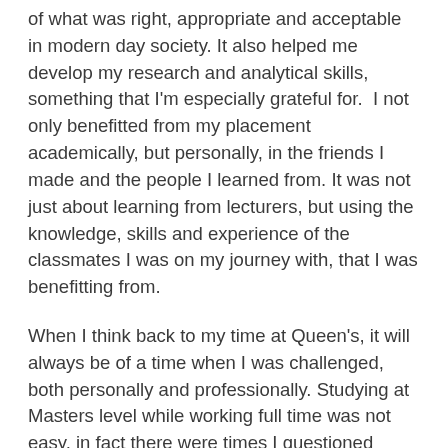of what was right, appropriate and acceptable in modern day society. It also helped me develop my research and analytical skills, something that I'm especially grateful for. I not only benefitted from my placement academically, but personally, in the friends I made and the people I learned from. It was not just about learning from lecturers, but using the knowledge, skills and experience of the classmates I was on my journey with, that I was benefitting from.
When I think back to my time at Queen's, it will always be of a time when I was challenged, both personally and professionally. Studying at Masters level while working full time was not easy, in fact there were times I questioned whether it was the right decision, but it was an experience I would never change and has helped shape me into the leader I am today.